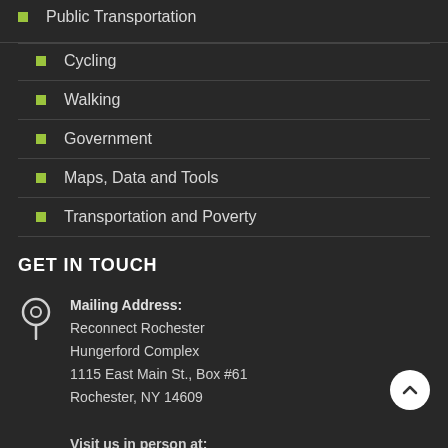Public Transportation
Cycling
Walking
Government
Maps, Data and Tools
Transportation and Poverty
GET IN TOUCH
Mailing Address:
Reconnect Rochester
Hungerford Complex
1115 East Main St., Box #61
Rochester, NY 14609

Visit us in person at:
Hungerford Complex